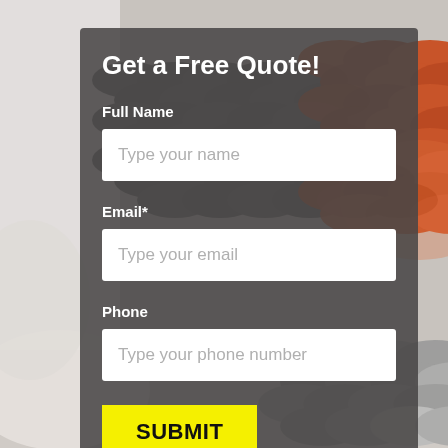[Figure (photo): Background photo of roofing tiles in dark gray and terracotta/orange colors, diagonal pattern, with light gray and white areas on the left side.]
Get a Free Quote!
Full Name
Type your name
Email*
Type your email
Phone
Type your phone number
SUBMIT